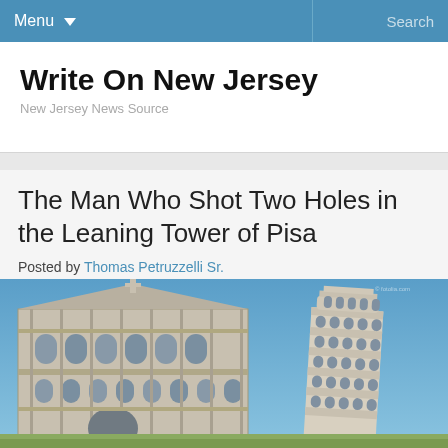Menu  Search
Write On New Jersey
New Jersey News Source
The Man Who Shot Two Holes in the Leaning Tower of Pisa
Posted by Thomas Petruzzelli Sr.
[Figure (photo): Photo of the Leaning Tower of Pisa and an adjacent cathedral building against a clear blue sky]